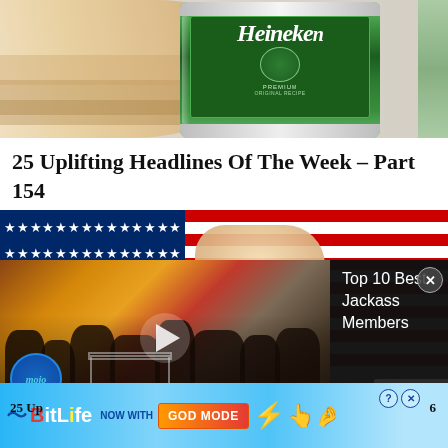[Figure (photo): Hand holding a green Heineken Premium beer can]
25 Uplifting Headlines Of The Week – Part 154
[Figure (photo): American flag waving with a hand touching it]
[Figure (screenshot): WatchMojo video player showing 'Top 10 Best Jackass Members' with crowd scene thumbnail and mojo logo]
Top 10 Best Jackass Members
[Figure (photo): BitLife advertisement banner: NOW WITH GOD MODE]
25 Up...
6